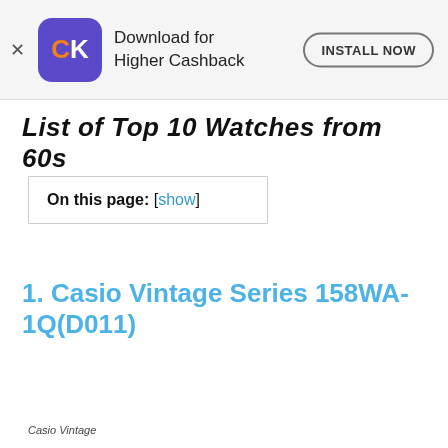Download for Higher Cashback  INSTALL NOW
List of Top 10 Watches from 60s
On this page: [show]
1. Casio Vintage Series 158WA-1Q(D011)
Casio Vintage